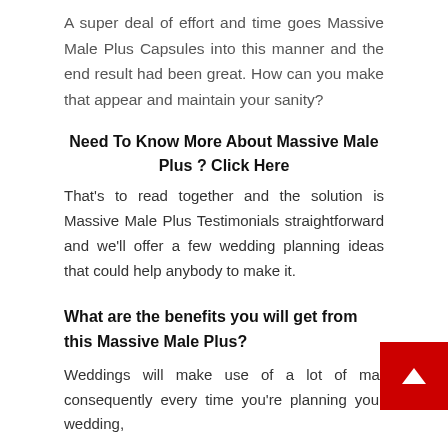A super deal of effort and time goes Massive Male Plus Capsules into this manner and the end result had been great. How can you make that appear and maintain your sanity?
Need To Know More About Massive Male Plus ? Click Here
That's to read together and the solution is Massive Male Plus Testimonials straightforward and we'll offer a few wedding planning ideas that could help anybody to make it.
What are the benefits you will get from this Massive Male Plus?
Weddings will make use of a lot of mat consequently every time you're planning your wedding,